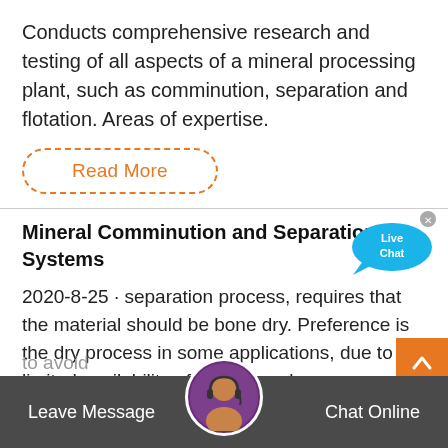Conducts comprehensive research and testing of all aspects of a mineral processing plant, such as comminution, separation and flotation. Areas of expertise.
Read More
Mineral Comminution and Separation Systems
[Figure (illustration): Live Chat speech bubble icon in blue with white text]
2020-8-25 · separation process, requires that the material should be bone dry. Preference is the dry process in some applications, due to the limited availability of water supply sources or other reasons. In the preparation of non-meta llic mineral resources such as cement rocks, aggregates and sands for mortar, dry processing plants are rather com
to avoid
Leave Message   Chat Online